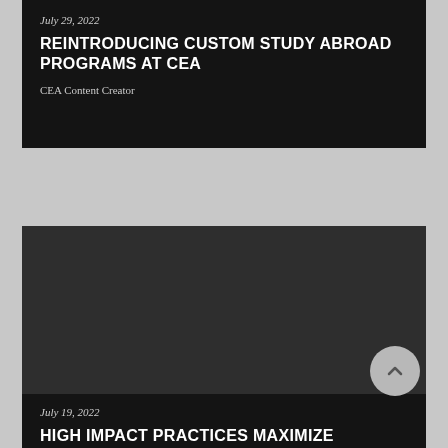July 29, 2022
REINTRODUCING CUSTOM STUDY ABROAD PROGRAMS AT CEA
CEA Content Creator
[Figure (photo): Dark/black image panel for second article card]
July 19, 2022
HIGH IMPACT PRACTICES MAXIMIZE STUDENT LEARNING ON CEA PROGRAMS